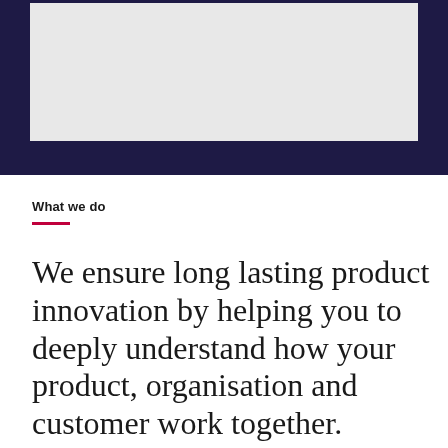[Figure (photo): Light grey rectangular image placeholder area set within a dark navy/indigo banner block at the top of the page.]
What we do
We ensure long lasting product innovation by helping you to deeply understand how your product, organisation and customer work together.